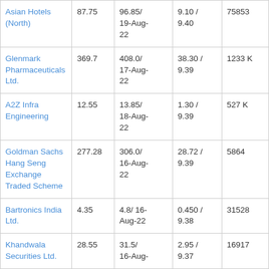| Asian Hotels (North) | 87.75 | 96.85/ 19-Aug-22 | 9.10 / 9.40 | 75853 |
| Glenmark Pharmaceuticals Ltd. | 369.7 | 408.0/ 17-Aug-22 | 38.30 / 9.39 | 1233 K |
| A2Z Infra Engineering | 12.55 | 13.85/ 18-Aug-22 | 1.30 / 9.39 | 527 K |
| Goldman Sachs Hang Seng Exchange Traded Scheme | 277.28 | 306.0/ 16-Aug-22 | 28.72 / 9.39 | 5864 |
| Bartronics India Ltd. | 4.35 | 4.8/ 16-Aug-22 | 0.450 / 9.38 | 31528 |
| Khandwala Securities Ltd. | 28.55 | 31.5/ 16-Aug- | 2.95 / 9.37 | 16917 |